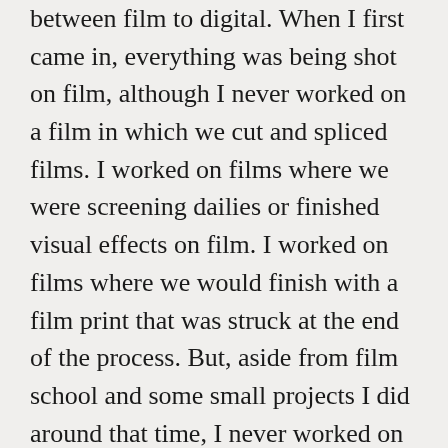between film to digital. When I first came in, everything was being shot on film, although I never worked on a film in which we cut and spliced films. I worked on films where we were screening dailies or finished visual effects on film. I worked on films where we would finish with a film print that was struck at the end of the process. But, aside from film school and some small projects I did around that time, I never worked on a flatbed and spliced film together.
That transition has done a lot of things in terms of editorial crews. We used to have these gigantic crews working through millions of feet